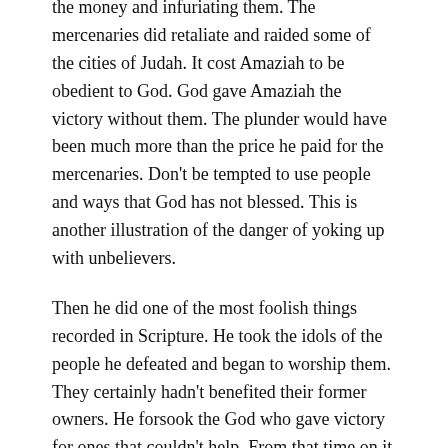the money and infuriating them. The mercenaries did retaliate and raided some of the cities of Judah. It cost Amaziah to be obedient to God. God gave Amaziah the victory without them. The plunder would have been much more than the price he paid for the mercenaries. Don't be tempted to use people and ways that God has not blessed. This is another illustration of the danger of yoking up with unbelievers.
Then he did one of the most foolish things recorded in Scripture. He took the idols of the people he defeated and began to worship them. They certainly hadn't benefited their former owners. He forsook the God who gave victory for ones that couldn't help. From that time on it was downhill for Amaziah. In our day the enemy's gods are subtler than idols. They come in the form of man's wisdom and pleasures of this life.
Warning: Be careful to follow the LORD with all your heart so that, as He gives you success, don't attribute the...